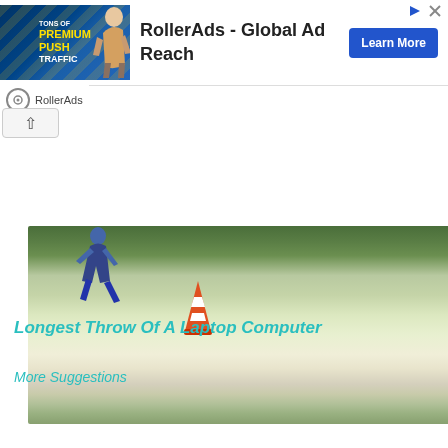[Figure (screenshot): Advertisement banner for RollerAds - Global Ad Reach with Learn More button, showing woman and TONS OF PREMIUM PUSH TRAFFIC text]
[Figure (photo): Outdoor field with green grass and a traffic cone, person running in background]
Longest Throw Of A Laptop Computer
More Suggestions